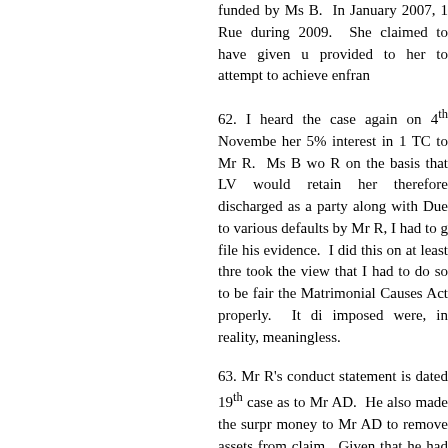funded by Ms B.  In January 2007, 1 Rue during 2009.  She claimed to have given u provided to her to attempt to achieve enfran
62. I heard the case again on 4th November her 5% interest in 1 TC to Mr R.  Ms B wo R on the basis that LV would retain her therefore discharged as a party along with Due to various defaults by Mr R, I had to g file his evidence.  I did this on at least thre took the view that I had to do so to be fair the Matrimonial Causes Act properly.  It di imposed were, in reality, meaningless.
63. Mr R's conduct statement is dated 19th case as to Mr AD.  He also made the surpr money to Mr AD to remove assets from claim.  Given that he had not made a clai not provide for him to receive capital from further alleged that the B family had undo place with the assistance of Mr Green.  H further allegations of non-disclosure aga evidence.  He alleged that 20% of IEG h although this was also not pursued before shares to go to X and Y it is another surpris
64. In his section 25 statement, he repeats nt f ld i t t t th t b d M